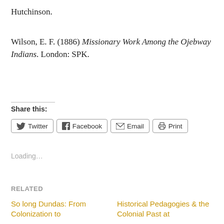Hutchinson.
Wilson, E. F. (1886) Missionary Work Among the Ojebway Indians. London: SPK.
Share this:
Twitter  Facebook  Email  Print
Loading...
RELATED
So long Dundas: From Colonization to
Historical Pedagogies & the Colonial Past at